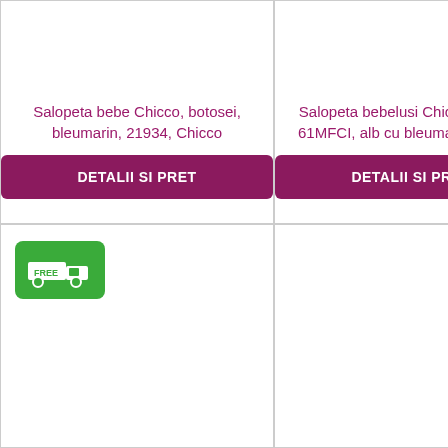Salopeta bebe Chicco, botosei, bleumarin, 21934, Chicco
DETALII SI PRET
Salopeta bebelusi Chicco, 02228-61MFCI, alb cu bleumarin, Chicco
DETALII SI PRET
[Figure (illustration): Green free shipping badge with a truck icon and FREE label]